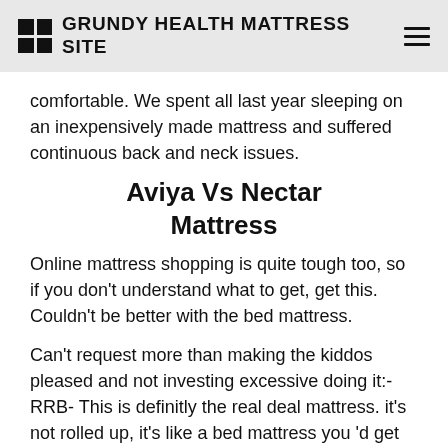GRUNDY HEALTH MATTRESS SITE
comfortable. We spent all last year sleeping on an inexpensively made mattress and suffered continuous back and neck issues.
Aviya Vs Nectar Mattress
Online mattress shopping is quite tough too, so if you don't understand what to get, get this. Couldn't be better with the bed mattress.
Can't request more than making the kiddos pleased and not investing excessive doing it:- RRB- This is definitly the real deal mattress. it's not rolled up, it's like a bed mattress you 'd get in a bed mattress shop, except you do not have to go to the store. To me, that's a plus.
The leading seems to cradle me but I'm still getting support (not simply sinking). I haven't